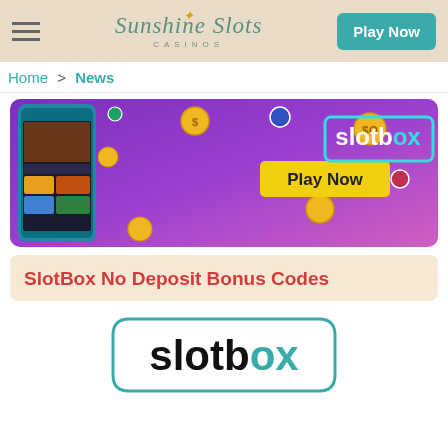Sunshine Slots Casinos — Play Now
Home > News
[Figure (photo): SlotBox casino promotional banner with purple/pink gradient background, gold coins, casino chips, a mobile phone showing casino games, a yellow 'Play Now' button, and the SlotBox logo in cyan neon style text]
SlotBox No Deposit Bonus Codes
[Figure (logo): SlotBox logo: bold black text 'slotbox' with cyan/teal corner bracket decoration forming a rounded rectangle border]